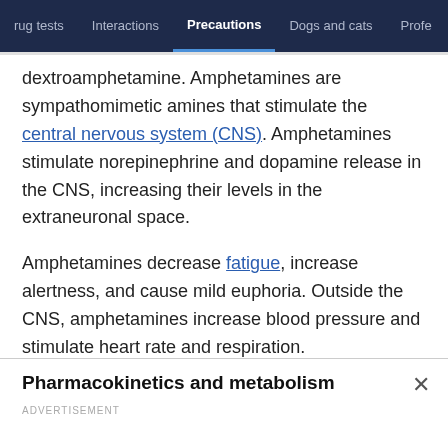rug tests | Interactions | Precautions | Dogs and cats | Profe
dextroamphetamine. Amphetamines are sympathomimetic amines that stimulate the central nervous system (CNS). Amphetamines stimulate norepinephrine and dopamine release in the CNS, increasing their levels in the extraneuronal space.
Amphetamines decrease fatigue, increase alertness, and cause mild euphoria. Outside the CNS, amphetamines increase blood pressure and stimulate heart rate and respiration.
Pharmacokinetics and metabolism